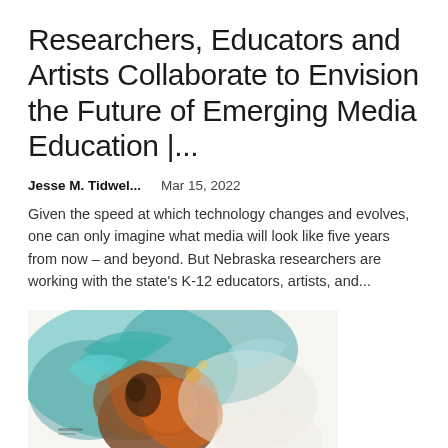Researchers, Educators and Artists Collaborate to Envision the Future of Emerging Media Education |...
Jesse M. Tidwel...    Mar 15, 2022
Given the speed at which technology changes and evolves, one can only imagine what media will look like five years from now – and beyond. But Nebraska researchers are working with the state's K-12 educators, artists, and...
[Figure (illustration): Colorful mixed-media artwork showing an abstract figure with teal, orange, and brown colors, appearing to be a painting or drawing on a white surface.]